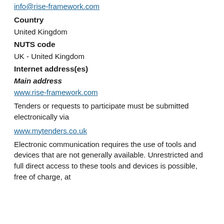info@rise-framework.com
Country
United Kingdom
NUTS code
UK - United Kingdom
Internet address(es)
Main address
www.rise-framework.com
Tenders or requests to participate must be submitted electronically via
www.mytenders.co.uk
Electronic communication requires the use of tools and devices that are not generally available. Unrestricted and full direct access to these tools and devices is possible, free of charge, at